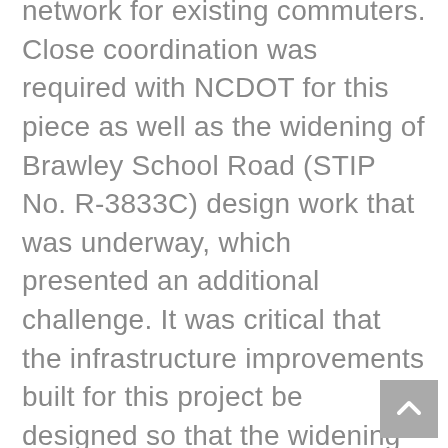network for existing commuters. Close coordination was required with NCDOT for this piece as well as the widening of Brawley School Road (STIP No. R-3833C) design work that was underway, which presented an additional challenge. It was critical that the infrastructure improvements built for this project be designed so that the widening project could build upon them rather than require removal when construction begins on R-3833C. DAVENPORT's relationships and ability to coordinate with the NCDOT proved crucial to having this project completed on time. Along with the traffic analyses and signal designs, DAVENPORT also completed the roadway and drainage for the re-quired off-site improvements which included widening, additional turn lanes.